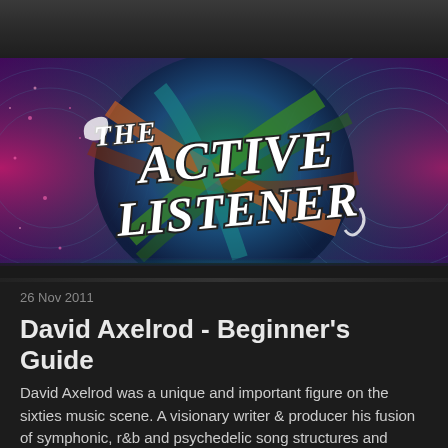[Figure (logo): The Active Listener website banner/logo with psychedelic 1960s-style lettering on a colorful cosmic background with a globe motif, swirling patterns in pink, teal, green, and orange]
26 Nov 2011
David Axelrod - Beginner's Guide
David Axelrod was a unique and important figure on the sixties music scene. A visionary writer & producer his fusion of symphonic, r&b and psychedelic song structures and